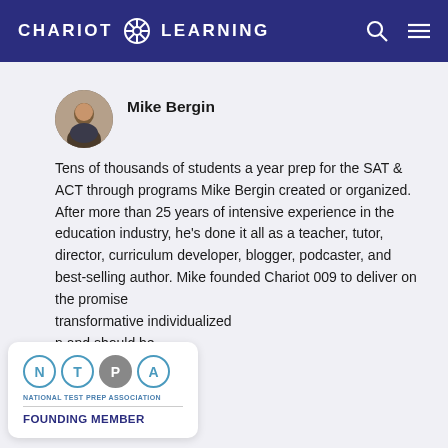CHARIOT LEARNING
Mike Bergin
Tens of thousands of students a year prep for the SAT & ACT through programs Mike Bergin created or organized. After more than 25 years of intensive experience in the education industry, he's done it all as a teacher, tutor, director, curriculum developer, blogger, podcaster, and best-selling author. Mike founded Chariot [Learning in 2]009 to deliver on the promise [of truly t]ransformative individualized [educatio]n and should be.
[Figure (logo): National Test Prep Association founding member badge with N T P A circular logos and text NATIONAL TEST PREP ASSOCIATION FOUNDING MEMBER]